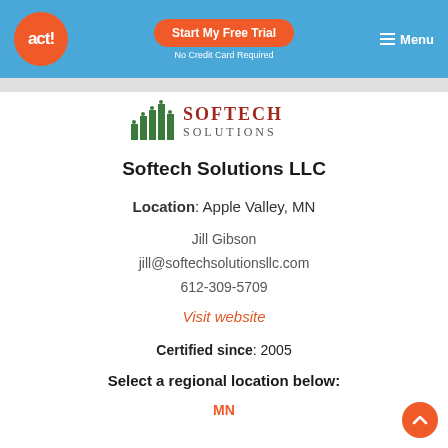act! | Start My Free Trial | No Credit Card Required | Menu
[Figure (logo): Softech Solutions logo with green bar chart icon and red/dark text]
Softech Solutions LLC
Location: Apple Valley, MN
Jill Gibson
jill@softechsolutionsllc.com
612-309-5709
Visit website
Certified since: 2005
Select a regional location below:
MN